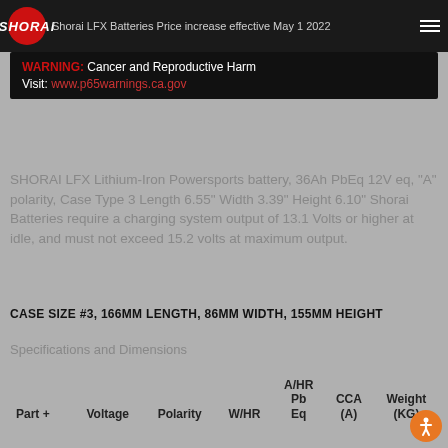SHORAI LFX Batteries Price increase effective May 1 2022
WARNING: Cancer and Reproductive Harm Visit: www.p65warnings.ca.gov
SHORAI LFX Lithium-Iron Powersports battery, 36Ah PbEq 12V eq, "A" polarity, Case Type 3 Length 6.55" Width 3.39" Height 6.10" Shorai Batteries require a charging system output of 13.1 Volts or higher at idle, and must not exceed 15.2 volts at maximum output.
CASE SIZE #3, 166MM LENGTH, 86MM WIDTH, 155MM HEIGHT
Specifications and Dimensions
| Part + | Voltage | Polarity | W/HR | A/HR Pb Eq | CCA (A) | Weight (KG) |
| --- | --- | --- | --- | --- | --- | --- |